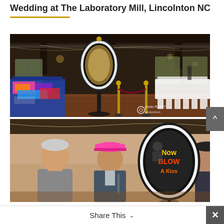Wedding at The Laboratory Mill, Lincolnton NC
[Figure (photo): Interior of The Laboratory Mill wedding venue showing a lit oval mirror on a stand, props table with colorful items, velvet rope stanchions, and set tables with white chairs in the background. Photo credit: photo RAMIT productions]
[Figure (photo): Wedding guests interacting near the oval mirror photo booth at the venue. A person wearing a pink cap is visible. The mirror displays text 'Now Blow A Kiss'.]
Share This